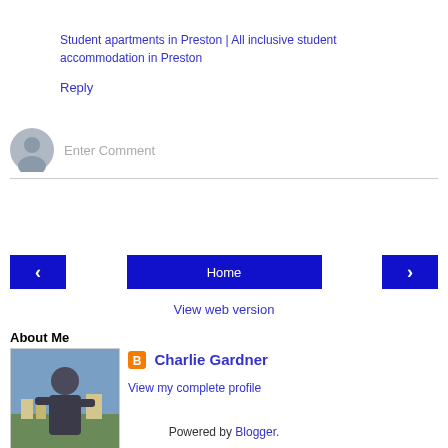Student apartments in Preston | All inclusive student accommodation in Preston
Reply
[Figure (other): Comment input area with a grey avatar icon and 'Enter Comment' placeholder text]
[Figure (other): Navigation buttons: left arrow, Home button, right arrow]
View web version
About Me
[Figure (photo): Photo of Charlie Gardner, a man standing outdoors with a town/landscape in the background]
Charlie Gardner
View my complete profile
Powered by Blogger.